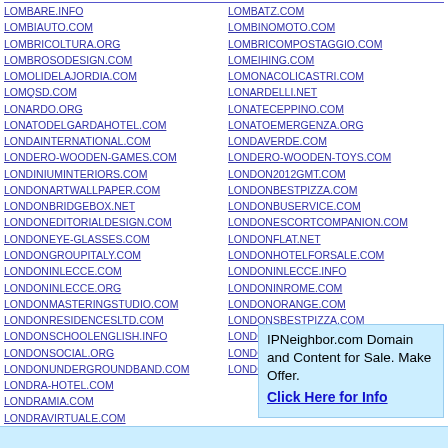LOMBARE.INFO
LOMBIAUTO.COM
LOMBRICOLTURA.ORG
LOMBROSODESIGN.COM
LOMOLIDELAJORDIA.COM
LOMQSD.COM
LONARDO.ORG
LONATODELGARDAHOTEL.COM
LONDAINTERNATIONAL.COM
LONDERO-WOODEN-GAMES.COM
LONDINIUMINTERIORS.COM
LONDONARTWALLPAPER.COM
LONDONBRIDGEBOX.NET
LONDONEDITORIALDESIGN.COM
LONDONEYE-GLASSES.COM
LONDONGROUPITALY.COM
LONDONINLECCE.COM
LONDONINLECCE.ORG
LONDONMASTERINGSTUDIO.COM
LONDONRESIDENCESLTD.COM
LONDONSCHOOLENGLISH.INFO
LONDONSOCIAL.ORG
LONDONUNDERGROUNDBAND.COM
LONDRA-HOTEL.COM
LONDRAMIA.COM
LONDRAVIRTUALE.COM
LONELYCAMPING.INFO
LONGA.ORG
LOMBATZ.COM
LOMBINOMOTO.COM
LOMBRICOMPOSTAGGIO.COM
LOMEIHING.COM
LOMONACOLICASTRI.COM
LONARDELLI.NET
LONATECEPPINO.COM
LONATOEMERGENZA.ORG
LONDAVERDE.COM
LONDERO-WOODEN-TOYS.COM
LONDON2012GMT.COM
LONDONBESTPIZZA.COM
LONDONBUSERVICE.COM
LONDONESCORTCOMPANION.COM
LONDONFLAT.NET
LONDONHOTELFORSALE.COM
LONDONINLECCE.INFO
LONDONINROME.COM
LONDONORANGE.COM
LONDONSBESTPIZZA.COM
LONDONSCHOOLENGLISH.ORG
LONDONTENDENCY.COM
LONDONWORK.ORG
IPNeighbor.com Domain and Content for Sale. Make Offer. Click Here for Info